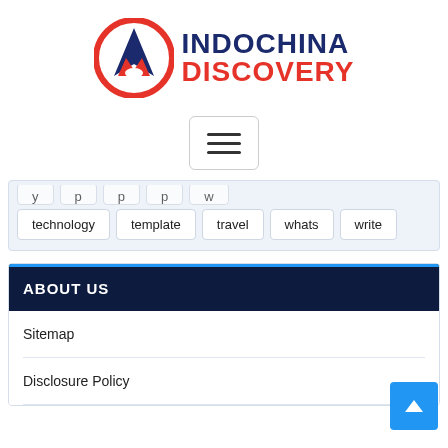[Figure (logo): Indochina Discovery logo: red circle with blue mountain/arrow shape and red M shape, text INDOCHINA in dark blue and DISCOVERY in red]
[Figure (other): Hamburger menu button with three horizontal lines, rounded rectangle border]
technology   template   travel   whats   write
ABOUT US
Sitemap
Disclosure Policy